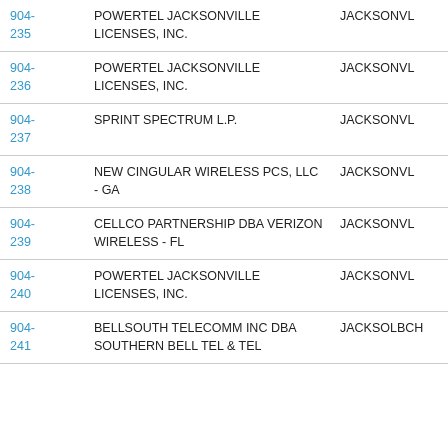| Code | Name | City |
| --- | --- | --- |
| 904-235 | POWERTEL JACKSONVILLE LICENSES, INC. | JACKSONVL |
| 904-236 | POWERTEL JACKSONVILLE LICENSES, INC. | JACKSONVL |
| 904-237 | SPRINT SPECTRUM L.P. | JACKSONVL |
| 904-238 | NEW CINGULAR WIRELESS PCS, LLC - GA | JACKSONVL |
| 904-239 | CELLCO PARTNERSHIP DBA VERIZON WIRELESS - FL | JACKSONVL |
| 904-240 | POWERTEL JACKSONVILLE LICENSES, INC. | JACKSONVL |
| 904-241 | BELLSOUTH TELECOMM INC DBA SOUTHERN BELL TEL & TEL | JACKSOLBCH |